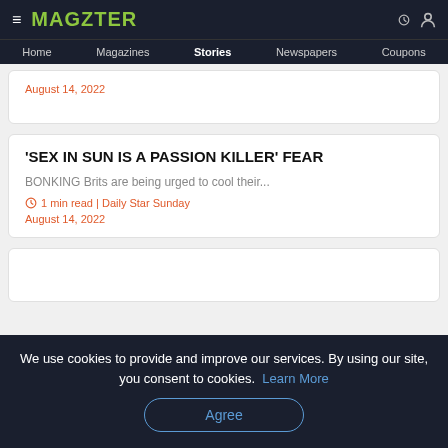MAGZTER | Home | Magazines | Stories | Newspapers | Coupons
August 14, 2022
'SEX IN SUN IS A PASSION KILLER' FEAR
BONKING Brits are being urged to cool their...
1 min read | Daily Star Sunday
August 14, 2022
We use cookies to provide and improve our services. By using our site, you consent to cookies. Learn More
Agree